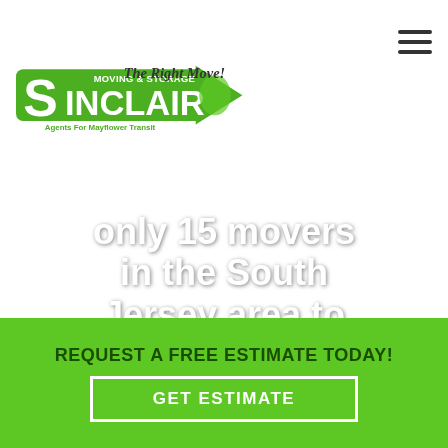[Figure (logo): Sinclair Moving & Storage logo with tagline 'The Right Move!' and subtitle 'Agents For Mayflower Transit']
[Figure (photo): Background photo of cardboard moving boxes on a shelf, with overlaid white bold text reading 'only 15 movers in the South Jersey area to be awarded the New'. Left and right carousel navigation arrows visible.]
REQUEST A FREE ESTIMATE TODAY!
GET ESTIMATE